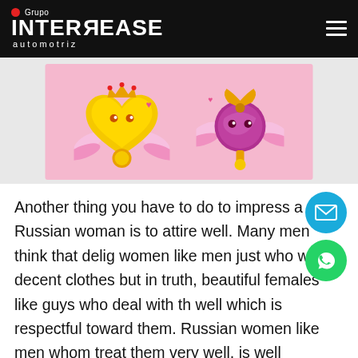Grupo INTERLEASE automotriz
[Figure (illustration): Pink banner with two cartoon flying heart characters with wings on a light pink background with small hearts]
Another thing you have to do to impress a Russian woman is to attire well. Many men think that delig women like men just who wear decent clothes but in truth, beautiful females like guys who deal with th well which is respectful toward them. Russian women like men whom treat them very well, is well intentioned and who knows tips on how to please all of them. You